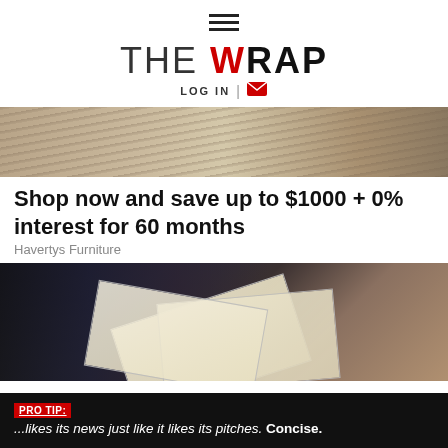[Figure (logo): Hamburger menu icon (three horizontal lines)]
THE WRAP
LOG IN
[Figure (photo): Furniture advertisement image showing rugs and wooden furniture]
Shop now and save up to $1000 + 0% interest for 60 months
Havertys Furniture
[Figure (photo): News article image showing printed papers and currency on dark background]
PRO TIP: ...likes its news just like it likes its pitches. Concise.